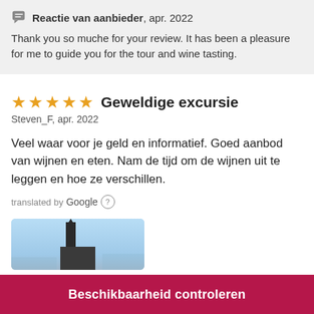Reactie van aanbieder, apr. 2022
Thank you so muche for your review. It has been a pleasure for me to guide you for the tour and wine tasting.
★★★★★ Geweldige excursie
Steven_F, apr. 2022

Veel waar voor je geld en informatief. Goed aanbod van wijnen en eten. Nam de tijd om de wijnen uit te leggen en hoe ze verschillen.
translated by Google ?
[Figure (photo): Partial photo of a landmark or structure against a blue sky, cropped at the bottom of the page.]
Beschikbaarheid controleren